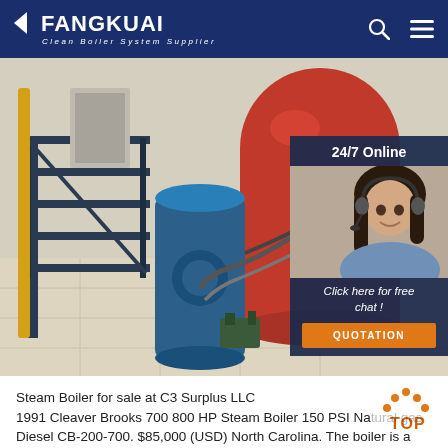FANGKUAI — Clean Boiler System Supplier
[Figure (photo): Boiler room with industrial red and blue steam boilers, staircase, piping; with a 24/7 online chat overlay showing a female customer service agent wearing a headset, a 'Click here for free chat!' message, and an orange QUOTATION button.]
Steam Boiler for sale at C3 Surplus LLC
1991 Cleaver Brooks 700 800 HP Steam Boiler 150 PSI Natural gas Diesel CB-200-700. $85,000 (USD) North Carolina. The boiler is a 700 HP 150 PSI with perfect tubes. Ready to go to work. 150 PSI, 29,291,000 BTU/HR. 700 HP The year 1991. Natural gas Diesel CB-...